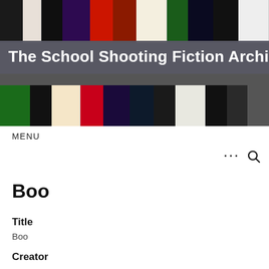[Figure (screenshot): Website header banner with collage of book covers and site title overlay]
The School Shooting Fiction Archive
MENU
Boo
Title
Boo
Creator